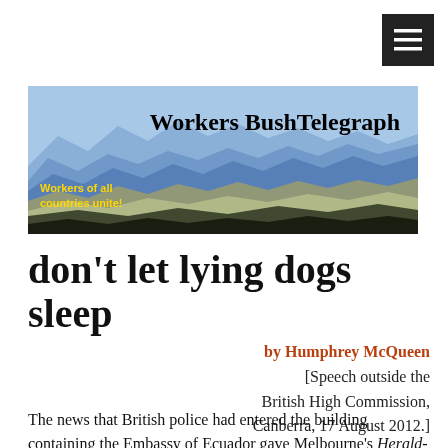[Figure (other): Menu/hamburger button icon, dark square with three horizontal lines]
[Figure (photo): Workers BushTelegraph website banner showing blue mountain landscape with the title 'Workers BushTelegraph' in bold serif text and tagline 'Workers of all countries unite!' in yellow bold text on the left]
don't let lying dogs sleep
by Humphrey McQueen
[Speech outside the British High Commission, Canberra, 17 August 2012.]
The news that British police had entered the building containing the Embassy of Ecuador gave Melbourne's Herald-Scum a further chance to